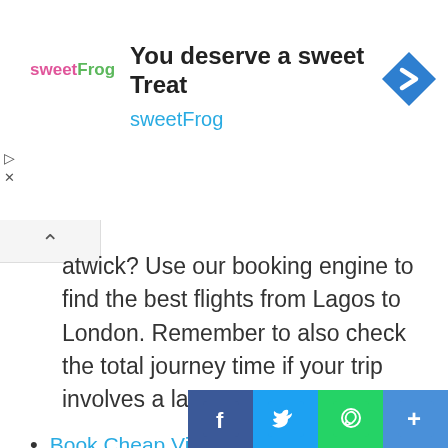[Figure (other): SweetFrog advertisement banner with logo, tagline 'You deserve a sweet Treat', navigation icon, and play/close buttons]
Gatwick? Use our booking engine to find the best flights from Lagos to London. Remember to also check the total journey time if your trip involves a layover.
Book Cheap Virgin Atlantic Lagos to London Heathrow – LOS to LHR
Book Cheap Qatar Airways Lagos to London Heathrow – LOS to LHR